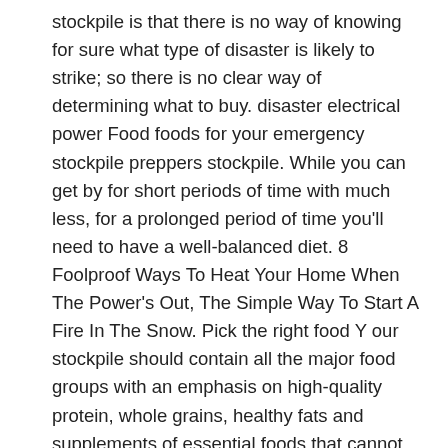stockpile is that there is no way of knowing for sure what type of disaster is likely to strike; so there is no clear way of determining what to buy. disaster electrical power Food foods for your emergency stockpile preppers stockpile. While you can get by for short periods of time with much less, for a prolonged period of time you'll need to have a well-balanced diet. 8 Foolproof Ways To Heat Your Home When The Power's Out, The Simple Way To Start A Fire In The Snow. Pick the right food Y our stockpile should contain all the major food groups with an emphasis on high-quality protein, whole grains, healthy fats and supplements of essential foods that cannot be stored in their original state without spoiling. You can use it in salsa, chili, or chowders. And if you store them in a cool, dark place in your pantry, they'll last for a while until you're ready to cut them. Start by building a two-week stockpile; then increase it to a month. Nuts store amazingly well and add a lot to baked goods, vegetables